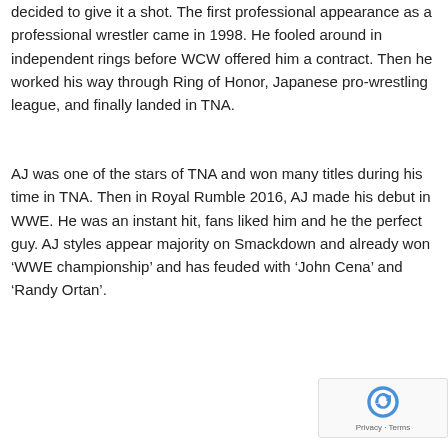decided to give it a shot. The first professional appearance as a professional wrestler came in 1998. He fooled around in independent rings before WCW offered him a contract. Then he worked his way through Ring of Honor, Japanese pro-wrestling league, and finally landed in TNA.
AJ was one of the stars of TNA and won many titles during his time in TNA. Then in Royal Rumble 2016, AJ made his debut in WWE. He was an instant hit, fans liked him and he the perfect guy. AJ styles appear majority on Smackdown and already won ‘WWE championship’ and has feuded with ‘John Cena’ and ‘Randy Ortan’.